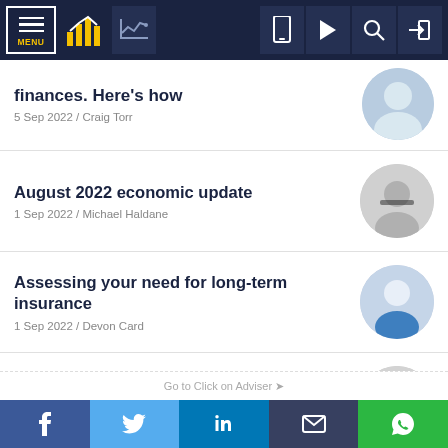Navigation bar with MENU, logo icons, and utility icons
finances. Here's how
5 Sep 2022 / Craig Torr
August 2022 economic update
1 Sep 2022 / Michael Haldane
Assessing your need for long-term insurance
1 Sep 2022 / Devon Card
The A-Z of divorce financial planning
31 Aug 2022 / Craig Torr
f  t  in  email  whatsapp